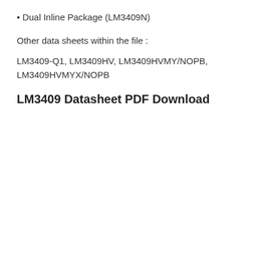• Dual Inline Package (LM3409N)
Other data sheets within the file :
LM3409-Q1, LM3409HV, LM3409HVMY/NOPB, LM3409HVMYX/NOPB
LM3409 Datasheet PDF Download